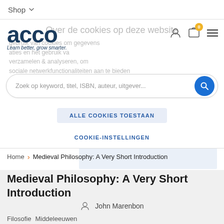Shop
[Figure (screenshot): ACCO logo with tagline 'Learn better, grow smarter.' and navigation icons including user icon, cart with badge '0', and hamburger menu]
Over de cookies op deze website
gebruik van cookies om gegevens aties en het gebruik va verzamelen & analyseren, om sociale netwerkfunctionaliteiten aan te bieden en personaliseren.
Kom meer te weten
Zoek op keyword, titel, ISBN, auteur, uitgever...
ALLE COOKIES TOESTAAN
COOKIE-INSTELLINGEN
Home › Medieval Philosophy: A Very Short Introduction
Medieval Philosophy: A Very Short Introduction
John Marenbon
Filosofie   Middeleeuwen